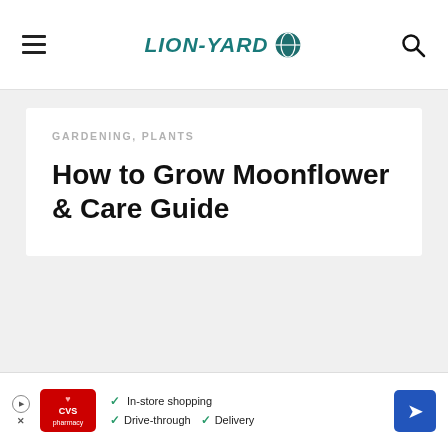LION-YARD
GARDENING, PLANTS
How to Grow Moonflower & Care Guide
[Figure (logo): CVS pharmacy advertisement banner with in-store shopping, drive-through, and delivery features]